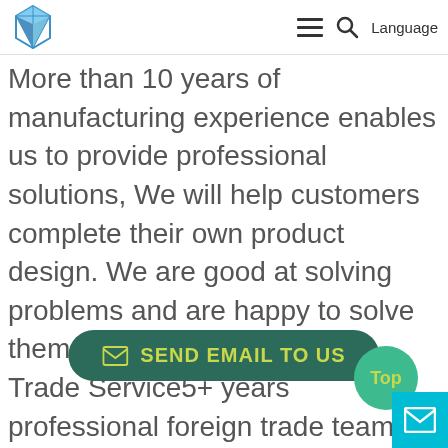[Figure (logo): Blue geometric diamond/gem shaped logo in the top left corner]
Language
More than 10 years of manufacturing experience enables us to provide professional solutions, We will help customers complete their own product design. We are good at solving problems and are happy to solve them. 1.Professional Foreign Trade Service5+ years professional foreign trade team to ser
[Figure (other): Send Email To Us button with envelope icon, dark green rounded rectangle with yellow-green text]
[Figure (other): Top scroll-to-top button, circular teal/green with yellow-green text 'Top']
[Figure (other): Mail icon box in cyan/teal at bottom right corner]